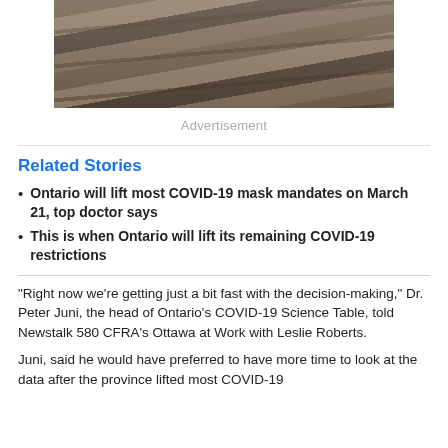[Figure (photo): Aerial or perspective view of railway tracks receding into distance, motion blur effect]
Advertisement
Related Stories
Ontario will lift most COVID-19 mask mandates on March 21, top doctor says
This is when Ontario will lift its remaining COVID-19 restrictions
"Right now we’re getting just a bit fast with the decision-making," Dr. Peter Juni, the head of Ontario’s COVID-19 Science Table, told Newstalk 580 CFRA’s Ottawa at Work with Leslie Roberts.
Juni, said he would have preferred to have more time to look at the data after the province lifted most COVID-19